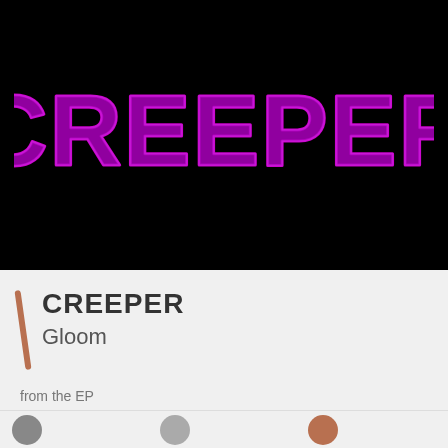[Figure (illustration): Black background with the word CREEPER in large purple spiky horror-style lettering]
CREEPER
Gloom
from the EP
Creeper